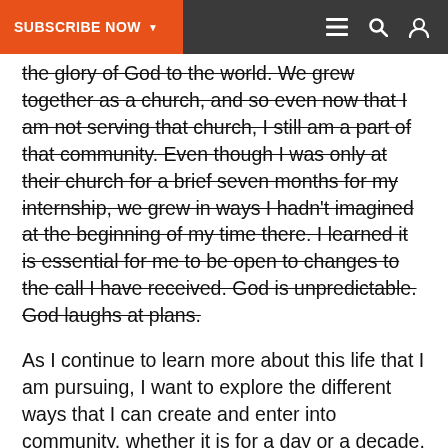SUBSCRIBE NOW ▾
the glory of God to the world. We grew together as a church, and so even now that I am not serving that church, I still am a part of that community. Even though I was only at their church for a brief seven months for my internship, we grew in ways I hadn't imagined at the beginning of my time there. I learned it is essential for me to be open to changes to the call I have received. God is unpredictable. God laughs at plans.
As I continue to learn more about this life that I am pursuing, I want to explore the different ways that I can create and enter into community, whether it is for a day or a decade. I had a conversation with Jonathan Wilson-Hartgrove about intentional